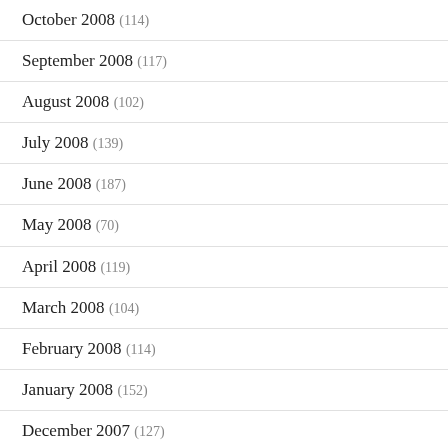October 2008 (114)
September 2008 (117)
August 2008 (102)
July 2008 (139)
June 2008 (187)
May 2008 (70)
April 2008 (119)
March 2008 (104)
February 2008 (114)
January 2008 (152)
December 2007 (127)